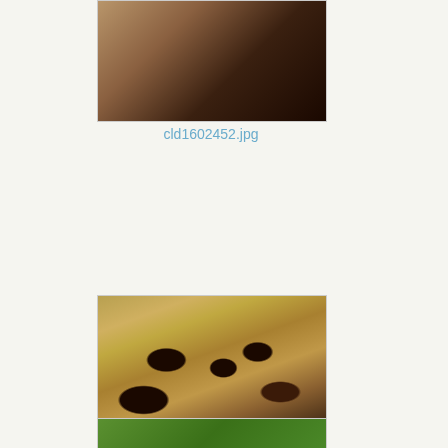[Figure (photo): Close-up macro photograph of what appears to be a finger or bamboo surface with dark lines, partially visible at top of page]
cld1602452.jpg
[Figure (photo): Macro photograph of fire ants swarming over a larva or grub, showing red-brown ants with dark heads clustered on a pale yellow-cream colored larva body]
cld08031978.jpg
[Figure (photo): Partially visible photograph at bottom showing green foliage, cut off by page edge]